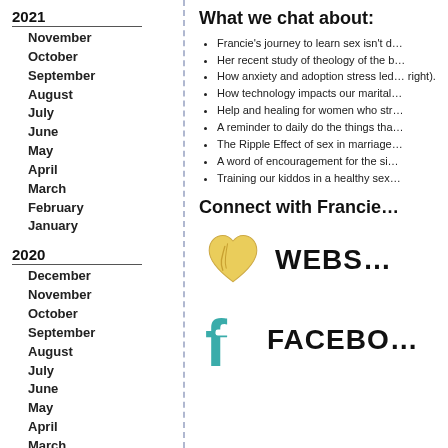2021
November
October
September
August
July
June
May
April
March
February
January
2020
December
November
October
September
August
July
June
May
April
March
February
January
2019
November
October
September
August
What we chat about:
Francie’s journey to learn sex isn’t d…
Her recent study of theology of the b…
How anxiety and adoption stress le… right).
How technology impacts our marital…
Help and healing for women who str…
A reminder to daily do the things tha…
The Ripple Effect of sex in marriage…
A word of encouragement for the si…
Training our kiddos in a healthy sex…
Connect with Francie…
[Figure (logo): Yellow hand-drawn heart icon with WEBS text label]
[Figure (logo): Teal Facebook 'f' icon with FACEBO text label]